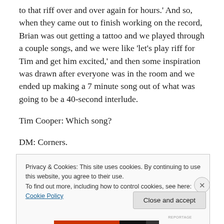to that riff over and over again for hours.' And so, when they came out to finish working on the record, Brian was out getting a tattoo and we played through a couple songs, and we were like 'let's play riff for Tim and get him excited,' and then some inspiration was drawn after everyone was in the room and we ended up making a 7 minute song out of what was going to be a 40-second interlude.
Tim Cooper: Which song?
DM: Corners.
Privacy & Cookies: This site uses cookies. By continuing to use this website, you agree to their use.
To find out more, including how to control cookies, see here: Cookie Policy